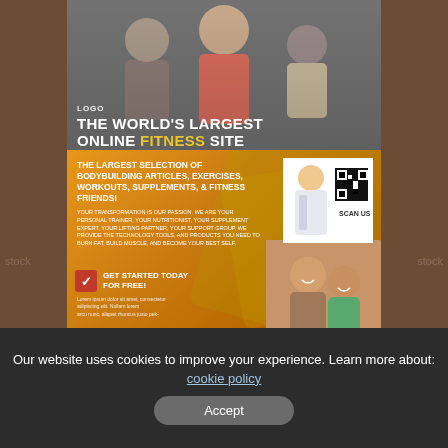[Figure (illustration): Fitness flyer advertisement showing people exercising on bikes at top, with yellow/orange lower section containing promotional text, QR code, and couple photo]
THE WORLD'S LARGEST ONLINE FITNESS SITE
THE LARGEST SELECTION OF BODYBUILDING ARTICLES, EXERCISES, WORKOUTS, SUPPLEMENTS, & FITNESS FRIENDS!
YOUR TRANSFORMATION IS OUR PASSION. WE ARE YOUR PERSONAL TRAINER, YOUR NUTRITIONIST, YOUR SUPPLEMENT EXPERT, YOUR LIFTING PARTNER, YOUR SUPPORT GROUP. WE PROVIDE THE TECHNOLOGY TOOLS, AND PRODUCTS YOU NEED TO BURN FAT, BUILD MUSCLE, AND BECOME YOUR BEST SELF.
GET STARTED TODAY FOR FREE!
Lorem ipsum dolor sit amet, consectetur adipiscing elit. Nullam lorem arcu nunc, aliquet rhoncus justo pek-
FREE FITNESS PLAN
GET 50% DISCOUNT
KEY OF SUCCESS
SCAN US
Our website uses cookies to improve your experience. Learn more about: cookie policy
Accept